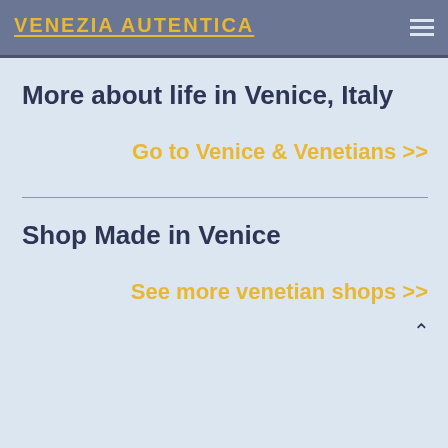VENEZIA AUTENTICA
More about life in Venice, Italy
Go to Venice & Venetians >>
Shop Made in Venice
See more venetian shops >>